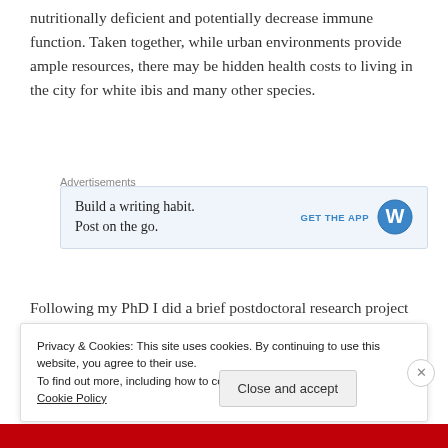nutritionally deficient and potentially decrease immune function. Taken together, while urban environments provide ample resources, there may be hidden health costs to living in the city for white ibis and many other species.
Advertisements
[Figure (other): WordPress app advertisement: 'Build a writing habit. Post on the go.' with GET THE APP button and WordPress logo]
Following my PhD I did a brief postdoctoral research project with the Grizzly Bear Research and Mitigation
Privacy & Cookies: This site uses cookies. By continuing to use this website, you agree to their use.
To find out more, including how to control cookies, see here: Cookie Policy